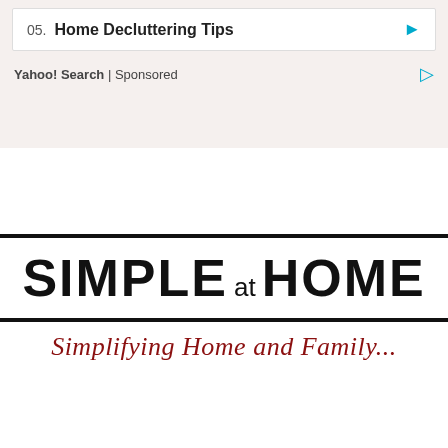05. Home Decluttering Tips
Yahoo! Search | Sponsored
[Figure (logo): Simple at Home logo — large black bold text 'SIMPLE at HOME' inside a black border rectangle, with cursive red tagline 'Simplifying Home and Family...' below]